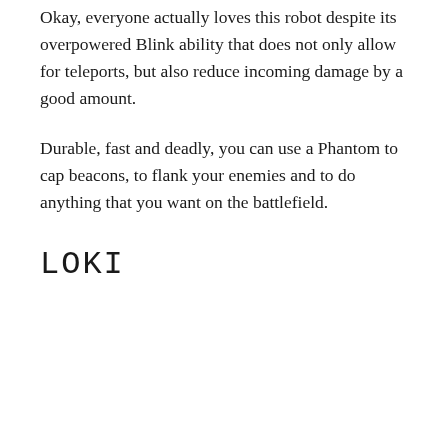Okay, everyone actually loves this robot despite its overpowered Blink ability that does not only allow for teleports, but also reduce incoming damage by a good amount.
Durable, fast and deadly, you can use a Phantom to cap beacons, to flank your enemies and to do anything that you want on the battlefield.
LOKI